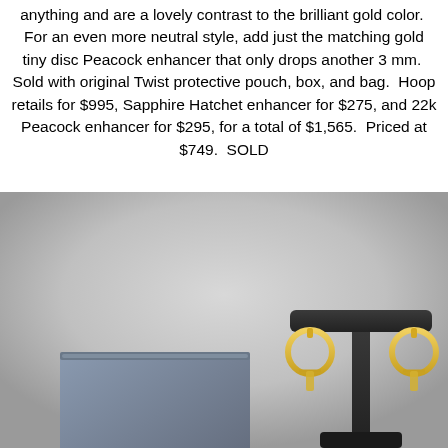anything and are a lovely contrast to the brilliant gold color.  For an even more neutral style, add just the matching gold tiny disc Peacock enhancer that only drops another 3 mm.  Sold with original Twist protective pouch, box, and bag.  Hoop retails for $995, Sapphire Hatchet enhancer for $275, and 22k Peacock enhancer for $295, for a total of $1,565.  Priced at $749.  SOLD
[Figure (photo): Jewelry product photo showing a dark navy/gray box on the left and a black T-bar earring display stand on the right with gold hoop earrings hanging from it. Gray gradient background.]